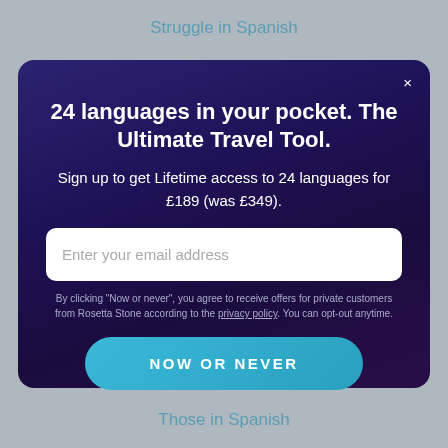Struggle in Spanish
24 languages in your pocket. The Ultimate Travel Tool.
Sign up to get Lifetime access to 24 languages for £189 (was £349).
Enter your email address
By clicking "Now or never", you agree to receive offers for private customers from Rosetta Stone according to the privacy policy. You can opt-out anytime.
NOW OR NEVER
Those in Spanish